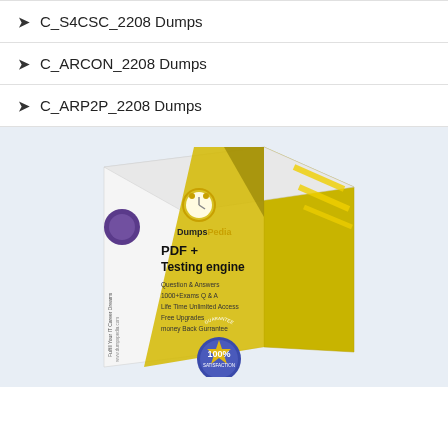➤ C_S4CSC_2208 Dumps
➤ C_ARCON_2208 Dumps
➤ C_ARP2P_2208 Dumps
[Figure (illustration): DumpsPedia product box showing PDF + Testing engine with features: Question & Answers, 1000+Exams Q & A, Life Time Unlimited Access, Free Upgrades, money Back Gurrantee. 100% Satisfaction guarantee badge at bottom.]